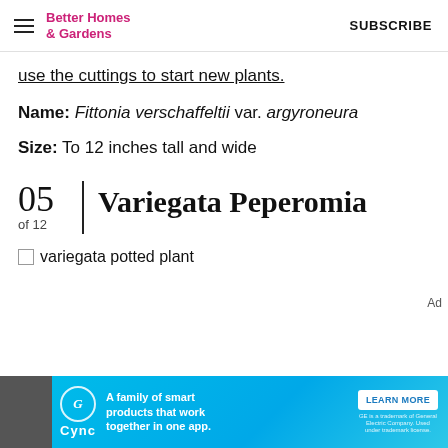Better Homes & Gardens   SUBSCRIBE
use the cuttings to start new plants.
Name: Fittonia verschaffeltii var. argyroneura
Size: To 12 inches tall and wide
05 of 12 | Variegata Peperomia
[Figure (photo): Broken image placeholder with alt text 'variegata potted plant']
Ad
[Figure (infographic): Cync advertisement banner: 'A family of smart products that work together in one app.' with Learn More button]